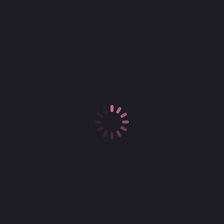[Figure (other): A loading spinner icon centered slightly below the vertical midpoint of a dark background. The spinner consists of small rounded rectangular dashes arranged in a circle, colored in muted pink/mauve tones against a very dark charcoal background (#1e1d24).]